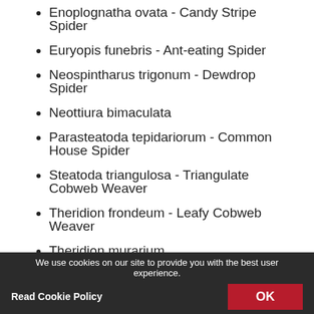Enoplognatha ovata - Candy Stripe Spider
Euryopis funebris - Ant-eating Spider
Neospintharus trigonum - Dewdrop Spider
Neottiura bimaculata
Parasteatoda tepidariorum - Common House Spider
Steatoda triangulosa - Triangulate Cobweb Weaver
Theridion frondeum - Leafy Cobweb Weaver
Theridion murarium
Thymoites unimaculatus
Wamba crispulus
Yunohamella lyrica - Adolescent Common House Spider
We use cookies on our site to provide you with the best user experience. Read Cookie Policy  OK